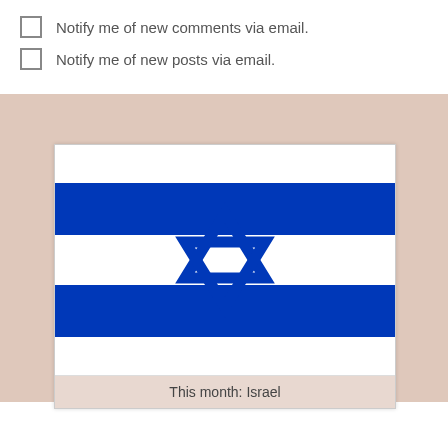Notify me of new comments via email.
Notify me of new posts via email.
[Figure (illustration): Flag of Israel with two horizontal blue stripes and a Star of David in the center]
This month: Israel